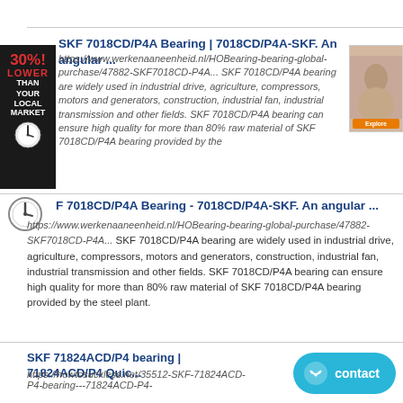SKF 7018CD/P4A Bearing | 7018CD/P4A-SKF. An angular ...
https://www.werkenaaneenheid.nl/HOBearing-bearing-global-purchase/47882-SKF7018CD-P4A... SKF 7018CD/P4A bearing are widely used in industrial drive, agriculture, compressors, motors and generators, construction, industrial fan, industrial transmission and other fields. SKF 7018CD/P4A bearing can ensure high quality for more than 80% raw material of SKF 7018CD/P4A bearing provided by the
F 7018CD/P4A Bearing - 7018CD/P4A-SKF. An angular ...
https://www.werkenaaneenheid.nl/HOBearing-bearing-global-purchase/47882-SKF7018CD-P4A... SKF 7018CD/P4A bearing are widely used in industrial drive, agriculture, compressors, motors and generators, construction, industrial fan, industrial transmission and other fields. SKF 7018CD/P4A bearing can ensure high quality for more than 80% raw material of SKF 7018CD/P4A bearing provided by the steel plant.
SKF 71824ACD/P4 bearing | 71824ACD/P4 Quic...
https://howtosuckless.net/35512-SKF-71824ACD-P4-bearing---71824ACD-P4-